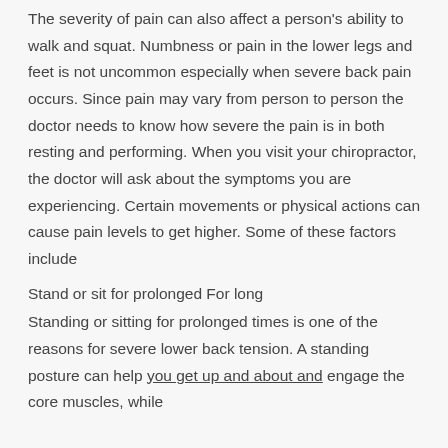The severity of pain can also affect a person's ability to walk and squat. Numbness or pain in the lower legs and feet is not uncommon especially when severe back pain occurs. Since pain may vary from person to person the doctor needs to know how severe the pain is in both resting and performing. When you visit your chiropractor, the doctor will ask about the symptoms you are experiencing. Certain movements or physical actions can cause pain levels to get higher. Some of these factors include
Stand or sit for prolonged For long
Standing or sitting for prolonged times is one of the reasons for severe lower back tension. A standing posture can help you get up and about and engage the core muscles, while